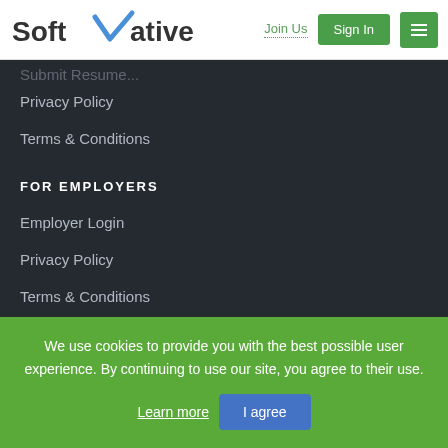[Figure (logo): SoftVative logo with blue checkmark replacing the 'V' in 'Soft', followed by 'ative' in dark text]
Join Us
Sign In
Privacy Policy
Terms & Conditions
FOR EMPLOYERS
Employer Login
Privacy Policy
Terms & Conditions
Post a Job
Job Packages
View Profile
We use cookies to provide you with the best possible user experience. By continuing to use our site, you agree to their use.
Learn more
I agree